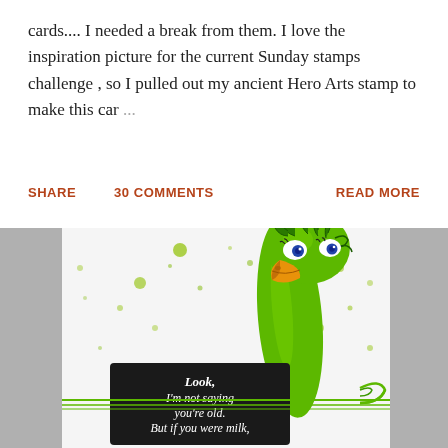cards.... I needed a break from them. I love the inspiration picture for the current Sunday stamps challenge , so I pulled out my ancient Hero Arts stamp to make this car ...
SHARE   30 COMMENTS   READ MORE
[Figure (photo): A handmade greeting card featuring a cartoon green ostrich with a long neck, wild hair, and an orange beak, against a white background with bright green ink splatters. The ostrich holds a black tag reading 'Look, I'm not saying you're old. But if you were milk,' in white text. Green ribbons are tied at the bottom. Gray panels flank the card on both sides.]